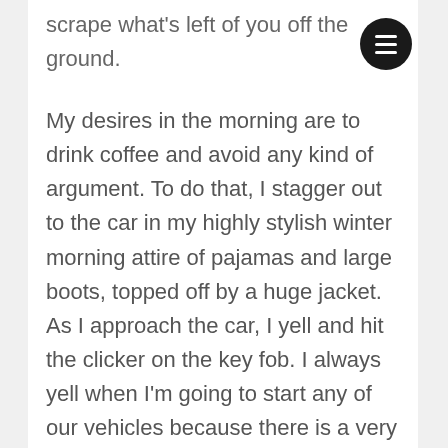scrape what's left of you off the ground.
My desires in the morning are to drink coffee and avoid any kind of argument. To do that, I stagger out to the car in my highly stylish winter morning attire of pajamas and large boots, topped off by a huge jacket. As I approach the car, I yell and hit the clicker on the key fob. I always yell when I'm going to start any of our vehicles because there is a very high concentration of feral cats in our neighborhood and the last thing I want to do is get one of them caught in the engine. Nobody with a dead cat under their hood ever has a good day.
Once inside the car, I turn the key, which results in the car starting and a blare from the radio. "Come on down to Ralph Burns Toyota! We got